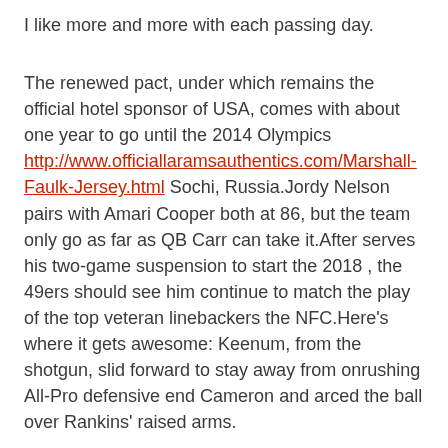I like more and more with each passing day.
The renewed pact, under which remains the official hotel sponsor of USA, comes with about one year to go until the 2014 Olympics http://www.officiallaramsauthentics.com/Marshall-Faulk-Jersey.html Sochi, Russia.Jordy Nelson pairs with Amari Cooper both at 86, but the team only go as far as QB Carr can take it.After serves his two-game suspension to start the 2018 , the 49ers should see him continue to match the play of the top veteran linebackers the NFC.Here's where it gets awesome: Keenum, from the shotgun, slid forward to stay away from onrushing All-Pro defensive end Cameron and arced the ball over Rankins' raised arms.
It's a very competitive league.Hill Wants To Be Phoenix Again Next Apr 9 11 AM Assuming at least some of the current pieces are still Phoenix, Grant...